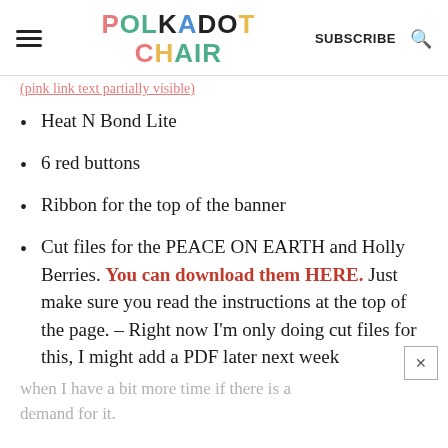POLKADOT CHAIR | SUBSCRIBE
[partial link text in red/pink - truncated]
Heat N Bond Lite
6 red buttons
Ribbon for the top of the banner
Cut files for the PEACE ON EARTH and Holly Berries. You can download them HERE. Just make sure you read the instructions at the top of the page. – Right now I'm only doing cut files for this, I might add a PDF later next week
when I have a bit more time if there is a demand for it.